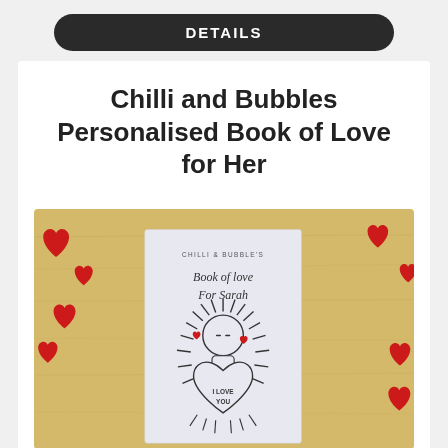DETAILS
Chilli and Bubbles Personalised Book of Love for Her
[Figure (photo): Photo of a personalised 'Book of Love for Sarah' by Chilli & Bubble's, placed on a wooden surface decorated with red heart confetti cutouts. The book cover shows an illustrated character holding a heart with 'I LOVE YOU' written on it, with rays around the character's head.]